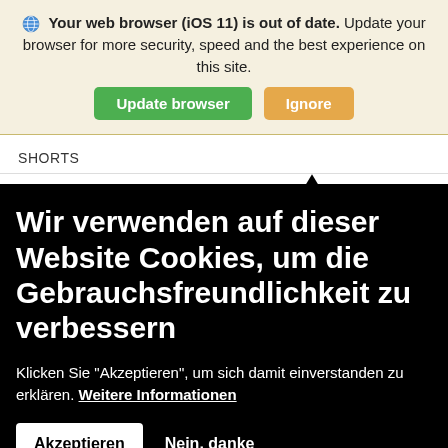Your web browser (iOS 11) is out of date. Update your browser for more security, speed and the best experience on this site.
Update browser | Ignore
SHORTS
Wir verwenden auf dieser Website Cookies, um die Gebrauchsfreundlichkeit zu verbessern
Klicken Sie "Akzeptieren", um sich damit einverstanden zu erklären. Weitere Informationen
Akzeptieren   Nein, danke